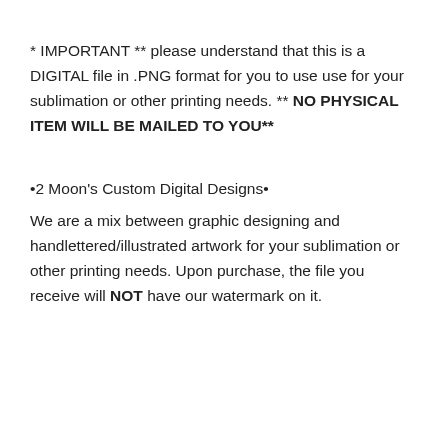* IMPORTANT ** please understand that this is a DIGITAL file in .PNG format for you to use use for your sublimation or other printing needs. ** NO PHYSICAL ITEM WILL BE MAILED TO YOU**
•2 Moon's Custom Digital Designs•
We are a mix between graphic designing and handlettered/illustrated artwork for your sublimation or other printing needs. Upon purchase, the file you receive will NOT have our watermark on it.